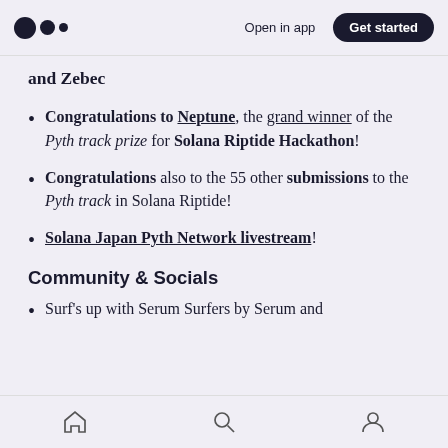Medium — Open in app  Get started
and Zebec
Congratulations to Neptune, the grand winner of the Pyth track prize for Solana Riptide Hackathon!
Congratulations also to the 55 other submissions to the Pyth track in Solana Riptide!
Solana Japan Pyth Network livestream!
Community & Socials
Surf's up with Serum Surfers by Serum and
Home  Search  Profile